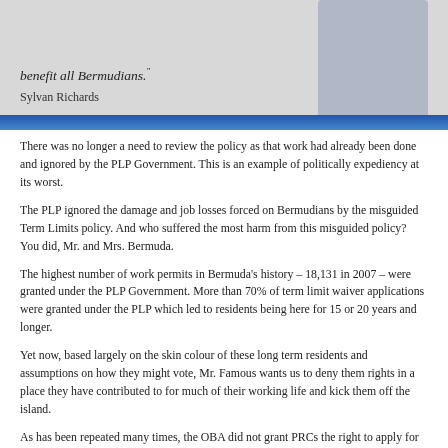[Figure (photo): A cropped image showing a man in a suit (Sylvan Richards) with a quote 'benefit all Bermudians.' and attribution 'Sylvan Richards' below. Blue gradient bar at bottom of image.]
There was no longer a need to review the policy as that work had already been done and ignored by the PLP Government. This is an example of politically expediency at its worst.
The PLP ignored the damage and job losses forced on Bermudians by the misguided Term Limits policy. And who suffered the most harm from this misguided policy? You did, Mr. and Mrs. Bermuda.
The highest number of work permits in Bermuda's history – 18,131 in 2007 – were granted under the PLP Government. More than 70% of term limit waiver applications were granted under the PLP which led to residents being here for 15 or 20 years and longer.
Yet now, based largely on the skin colour of these long term residents and assumptions on how they might vote, Mr. Famous wants us to deny them rights in a place they have contributed to for much of their working life and kick them off the island.
As has been repeated many times, the OBA did not grant PRCs the right to apply for status in July, 2014. In 2002 the PLP amended the Bermuda Immigration and Protection Act that paved the way for 1,455 PRCs to